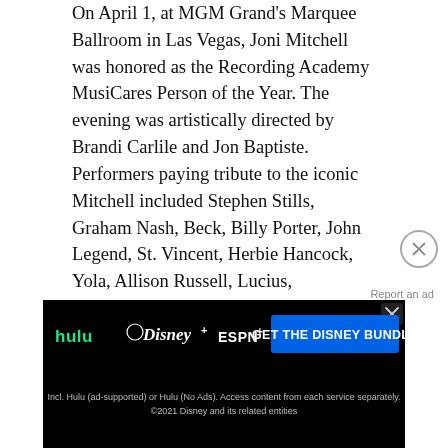On April 1, at MGM Grand's Marquee Ballroom in Las Vegas, Joni Mitchell was honored as the Recording Academy MusiCares Person of the Year. The evening was artistically directed by Brandi Carlile and Jon Baptiste. Performers paying tribute to the iconic Mitchell included Stephen Stills, Graham Nash, Beck, Billy Porter, John Legend, St. Vincent, Herbie Hancock, Yola, Allison Russell, Lucius, Pentatonix, Cyndi Lauper, Mickey Guyton, and Lauren Daigle.
At the end of the evening, Joni joined the ensemble of performers for a rendition of "Big Yellow Taxi." Her appearance onstage was unannounced. Joni had not performed since 2013, when she unexpectedly played music at several events where she was booked to read her poetry. Before that, she had not performed music onstage since 2002.
[Figure (screenshot): Advertisement banner for Disney Bundle (Hulu, Disney+, ESPN+) with dark background and blue CTA button reading 'GET THE DISNEY BUNDLE']